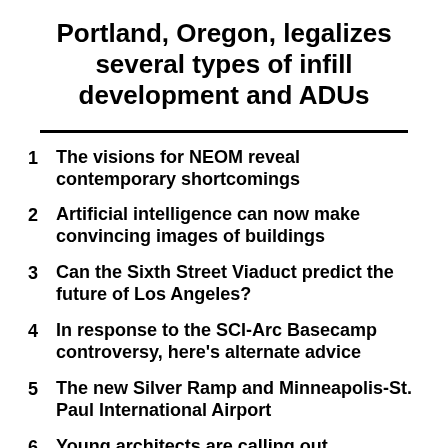Portland, Oregon, legalizes several types of infill development and ADUs
1 The visions for NEOM reveal contemporary shortcomings
2 Artificial intelligence can now make convincing images of buildings
3 Can the Sixth Street Viaduct predict the future of Los Angeles?
4 In response to the SCI-Arc Basecamp controversy, here's alternate advice
5 The new Silver Ramp and Minneapolis-St. Paul International Airport
6 Young architects are calling out exploitation in education and practice